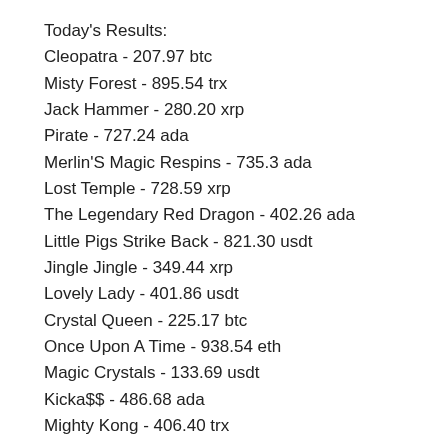Today's Results:
Cleopatra - 207.97 btc
Misty Forest - 895.54 trx
Jack Hammer - 280.20 xrp
Pirate - 727.24 ada
Merlin'S Magic Respins - 735.3 ada
Lost Temple - 728.59 xrp
The Legendary Red Dragon - 402.26 ada
Little Pigs Strike Back - 821.30 usdt
Jingle Jingle - 349.44 xrp
Lovely Lady - 401.86 usdt
Crystal Queen - 225.17 btc
Once Upon A Time - 938.54 eth
Magic Crystals - 133.69 usdt
Kicka$$ - 486.68 ada
Mighty Kong - 406.40 trx
Play Bitcoin slots:
Syndicate Casino Musketeer Slot